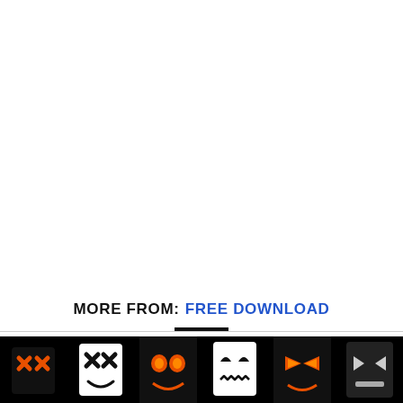MORE FROM: FREE DOWNLOAD
[Figure (photo): A horizontal strip of six Halloween-themed masks on a black background. The masks show stylized faces including: two orange X-eyed masks, a dark mask with glowing orange eyes, a white Jack-Skellington-style mask, a dark mask with glowing orange eyes, and a dark mask with angular eyes. White square card shapes frame some of the masks.]